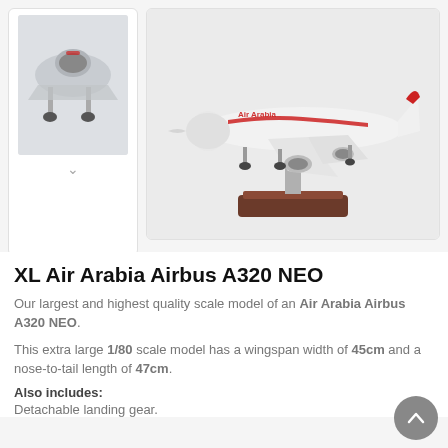[Figure (photo): Thumbnail image of Air Arabia Airbus A320 NEO scale model showing undercarriage/landing gear detail, with a chevron/down arrow below]
[Figure (photo): Main product image of XL Air Arabia Airbus A320 NEO scale model displayed on a wooden stand against a light background. The white aircraft has red Air Arabia livery markings.]
XL Air Arabia Airbus A320 NEO
Our largest and highest quality scale model of an Air Arabia Airbus A320 NEO.
This extra large 1/80 scale model has a wingspan width of 45cm and a nose-to-tail length of 47cm.
Also includes:
Detachable landing gear.